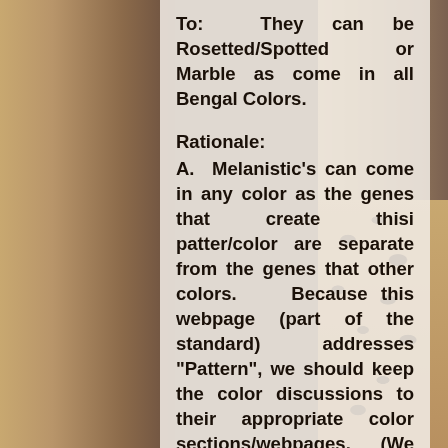[Figure (photo): Background image of Bengal cats — one on the left side and one with spotted/rosette pattern on the right side, with warm brown tones.]
To:  They can be Rosetted/Spotted or Marble as come in all Bengal Colors.
Rationale:
A.  Melanistic's can come in any color as the genes that create thisi patter/color are separate from the genes that other colors.    Because this webpage (part of the standard) addresses "Pattern", we should keep the color discussions to their appropriate color sections/webpages.    (We should also include other